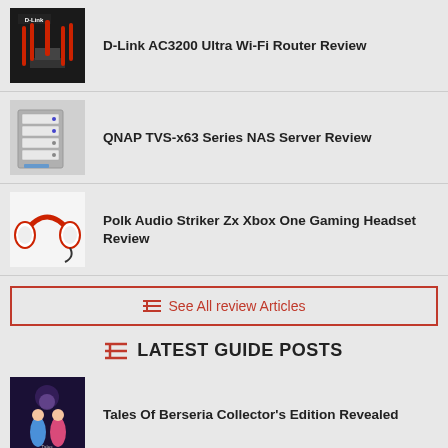D-Link AC3200 Ultra Wi-Fi Router Review
QNAP TVS-x63 Series NAS Server Review
Polk Audio Striker Zx Xbox One Gaming Headset Review
See All review Articles
LATEST GUIDE POSTS
Tales Of Berseria Collector's Edition Revealed